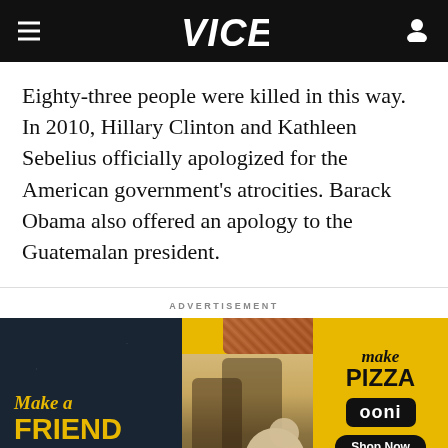VICE
Eighty-three people were killed in this way. In 2010, Hillary Clinton and Kathleen Sebelius officially apologized for the American government's atrocities. Barack Obama also offered an apology to the Guatemalan president.
ADVERTISEMENT
[Figure (other): Ooni pizza oven advertisement banner showing 'Make a Friend or Two' on dark background with yellow text on the left, a center photo of people and a dog at a picnic with pizza, and on the right a yellow panel reading 'Make Pizza' with the Ooni brand logo and 'Shop Now' button.]